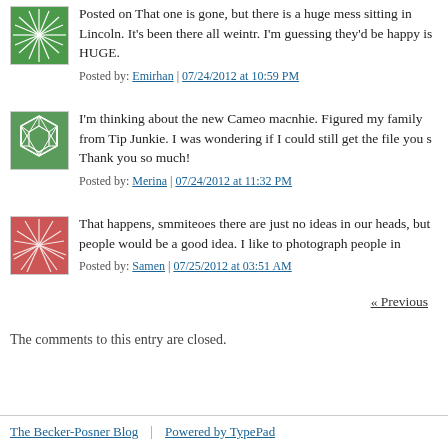[Figure (illustration): Green starburst/pinwheel avatar icon]
Posted on That one is gone, but there is a huge mess sitting in Lincoln. It's been there all weintr. I'm guessing they'd be happy is HUGE.
Posted by: Emirhan | 07/24/2012 at 10:59 PM
[Figure (illustration): Green geometric pattern avatar icon]
I'm thinking about the new Cameo macnhie. Figured my family from Tip Junkie. I was wondering if I could still get the file you s Thank you so much!
Posted by: Merina | 07/24/2012 at 11:32 PM
[Figure (illustration): Red/pink starburst pattern avatar icon]
That happens, smmiteoes there are just no ideas in our heads, but people would be a good idea. I like to photograph people in
Posted by: Samen | 07/25/2012 at 03:51 AM
« Previous
The comments to this entry are closed.
The Becker-Posner Blog | Powered by TypePad